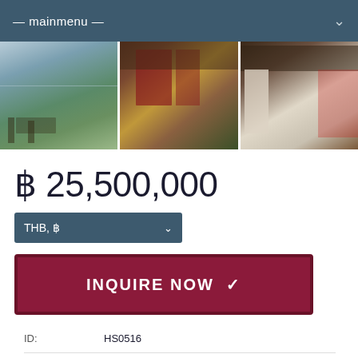— mainmenu —
[Figure (photo): Three property photos side by side: scenic hillside view with ocean in background, exterior of villa with traditional Thai architecture and red doors, interior bedroom or porch view]
฿ 25,500,000
THB, ฿
INQUIRE NOW ✓
| Field | Value |
| --- | --- |
| ID: | HS0516 |
| Type: | Villa |